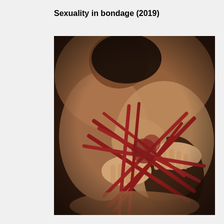Sexuality in bondage (2019)
[Figure (photo): A photograph showing two people, one using red rope in a bondage arrangement, intimate scene with warm dark tones, dated 2019.]